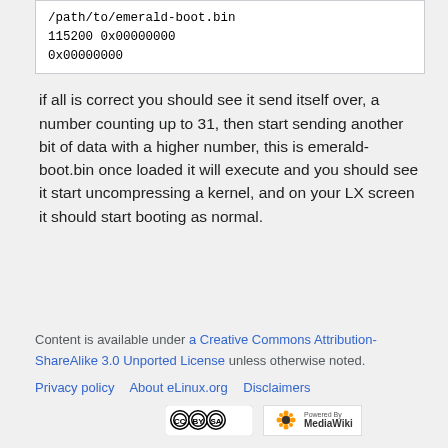/path/to/emerald-boot.bin 115200 0x00000000 0x00000000
if all is correct you should see it send itself over, a number counting up to 31, then start sending another bit of data with a higher number, this is emerald-boot.bin once loaded it will execute and you should see it start uncompressing a kernel, and on your LX screen it should start booting as normal.
Content is available under a Creative Commons Attribution-ShareAlike 3.0 Unported License unless otherwise noted.
Privacy policy | About eLinux.org | Disclaimers